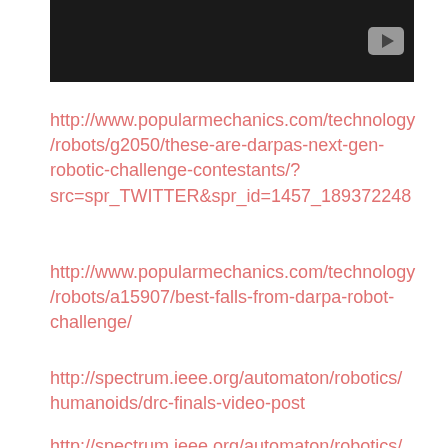[Figure (screenshot): Black video thumbnail with a play button in the top-right corner]
http://www.popularmechanics.com/technology/robots/g2050/these-are-darpas-next-gen-robotic-challenge-contestants/?src=spr_TWITTER&spr_id=1457_189372248
http://www.popularmechanics.com/technology/robots/a15907/best-falls-from-darpa-robot-challenge/
http://spectrum.ieee.org/automaton/robotics/humanoids/drc-finals-video-post
http://spectrum.ieee.org/automaton/robotics/